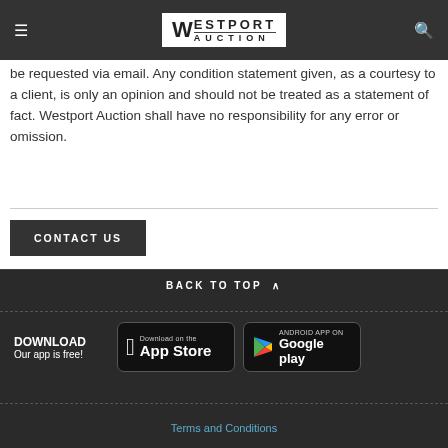Westport Auction
be requested via email. Any condition statement given, as a courtesy to a client, is only an opinion and should not be treated as a statement of fact. Westport Auction shall have no responsibility for any error or omission.
CONTACT US
BACK TO TOP
DOWNLOAD Our app is free!
[Figure (logo): Download on the App Store button]
[Figure (logo): Android App on Google Play button]
Terms and Conditions